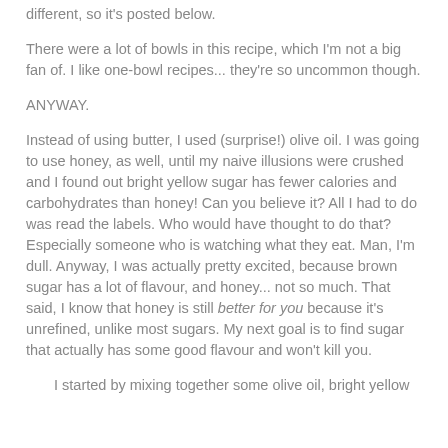different, so it's posted below.
There were a lot of bowls in this recipe, which I'm not a big fan of. I like one-bowl recipes... they're so uncommon though.
ANYWAY.
Instead of using butter, I used (surprise!) olive oil. I was going to use honey, as well, until my naive illusions were crushed and I found out bright yellow sugar has fewer calories and carbohydrates than honey! Can you believe it? All I had to do was read the labels. Who would have thought to do that? Especially someone who is watching what they eat. Man, I'm dull. Anyway, I was actually pretty excited, because brown sugar has a lot of flavour, and honey... not so much. That said, I know that honey is still better for you because it's unrefined, unlike most sugars. My next goal is to find sugar that actually has some good flavour and won't kill you.
I started by mixing together some olive oil, bright yellow